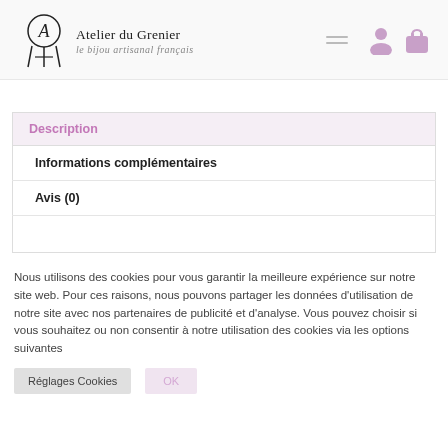Atelier du Grenier — le bijou artisanal français
| Description |
| --- |
| Informations complémentaires |
| Avis (0) |
|  |
Nous utilisons des cookies pour vous garantir la meilleure expérience sur notre site web. Pour ces raisons, nous pouvons partager les données d'utilisation de notre site avec nos partenaires de publicité et d'analyse. Vous pouvez choisir si vous souhaitez ou non consentir à notre utilisation des cookies via les options suivantes
Réglages Cookies | OK